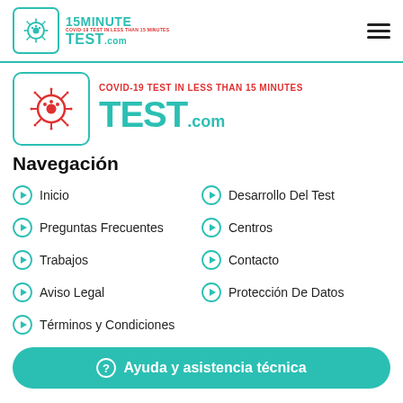[Figure (logo): 15MinuteTest.com logo in top navigation bar with teal virus icon in bordered box]
[Figure (logo): Large 15MinuteTest.com logo with red COVID-19 text and teal TEST.COM text, red virus icon]
Navegación
Inicio
Desarrollo Del Test
Preguntas Frecuentes
Centros
Trabajos
Contacto
Aviso Legal
Protección De Datos
Términos y Condiciones
Ayuda y asistencia técnica